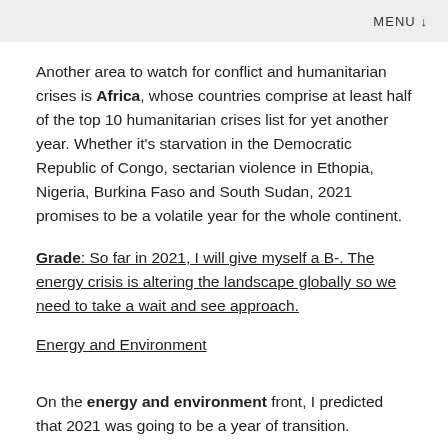MENU ↓
Another area to watch for conflict and humanitarian crises is Africa, whose countries comprise at least half of the top 10 humanitarian crises list for yet another year. Whether it's starvation in the Democratic Republic of Congo, sectarian violence in Ethopia, Nigeria, Burkina Faso and South Sudan, 2021 promises to be a volatile year for the whole continent.
Grade: So far in 2021, I will give myself a B-. The energy crisis is altering the landscape globally so we need to take a wait and see approach.
Energy and Environment
On the energy and environment front, I predicted that 2021 was going to be a year of transition.